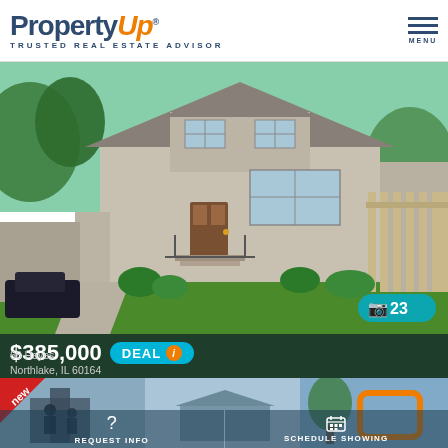PropertyUp® TRUSTED REAL ESTATE ADVISOR
[Figure (photo): Exterior photo of a two-story gray house with green lawn, attached garage area, front porch steps with railing, and landscaping.]
📷 23
$385,000  DEAL ℹ
6 beds | 5 baths  2,800 sqft
MLS ID: #11425428
68 Hayes
Northlake, IL 60164
House For Sale
[Figure (photo): Thumbnail strip showing partial views of property photos with a 'new' badge.]
REQUEST INFO
SCHEDULE SHOWING